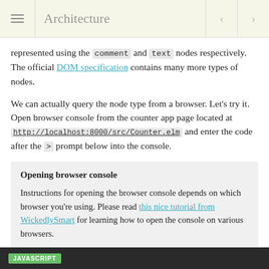Architecture
represented using the comment and text nodes respectively. The official DOM specification contains many more types of nodes.
We can actually query the node type from a browser. Let's try it. Open browser console from the counter app page located at http://localhost:8000/src/Counter.elm and enter the code after the > prompt below into the console.
Opening browser console
Instructions for opening the browser console depends on which browser you're using. Please read this nice tutorial from WickedlySmart for learning how to open the console on various browsers.
JAVASCRIPT